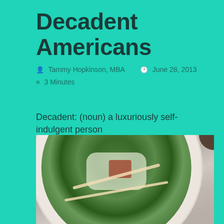Decadent Americans
Tammy Hopkinson, MBA   June 28, 2013
3 Minutes
Decadent: (noun) a luxuriously self-indulgent person
[Figure (photo): Overhead photo of a Caesar salad with romaine lettuce, bacon bits, croutons, shredded parmesan cheese, and creamy dressing drizzled over top, served on a white round plate on a marble surface]